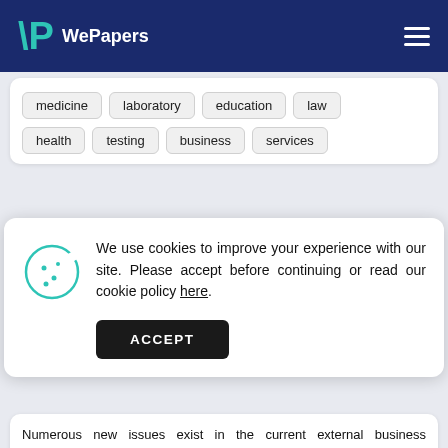WePapers
medicine
laboratory
education
law
health
testing
business
services
We use cookies to improve your experience with our site. Please accept before continuing or read our cookie policy here.
ACCEPT
Numerous new issues exist in the current external business environment that have an impact on firms. These issues might be either in terms of risks or opportunities, or both. The issues vary